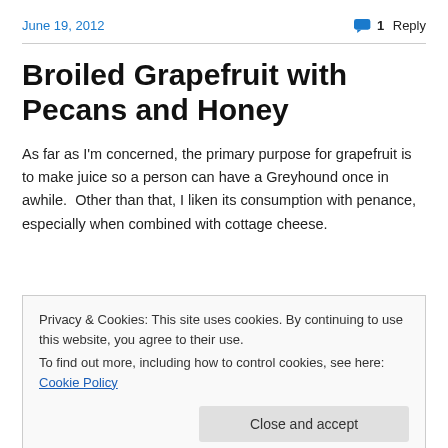June 19, 2012   1 Reply
Broiled Grapefruit with Pecans and Honey
As far as I'm concerned, the primary purpose for grapefruit is to make juice so a person can have a Greyhound once in awhile.  Other than that, I liken its consumption with penance, especially when combined with cottage cheese.
Privacy & Cookies: This site uses cookies. By continuing to use this website, you agree to their use.
To find out more, including how to control cookies, see here: Cookie Policy
Close and accept
Broiled Grapefruit